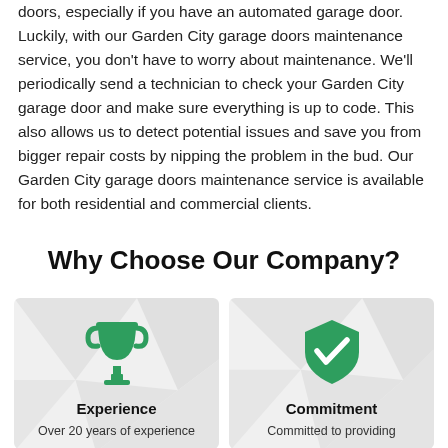doors, especially if you have an automated garage door. Luckily, with our Garden City garage doors maintenance service, you don't have to worry about maintenance. We'll periodically send a technician to check your Garden City garage door and make sure everything is up to code. This also allows us to detect potential issues and save you from bigger repair costs by nipping the problem in the bud. Our Garden City garage doors maintenance service is available for both residential and commercial clients.
Why Choose Our Company?
[Figure (illustration): Trophy icon in green color on a light gray card background]
Experience
Over 20 years of experience
[Figure (illustration): Shield with checkmark icon in green color on a light gray card background]
Commitment
Committed to providing